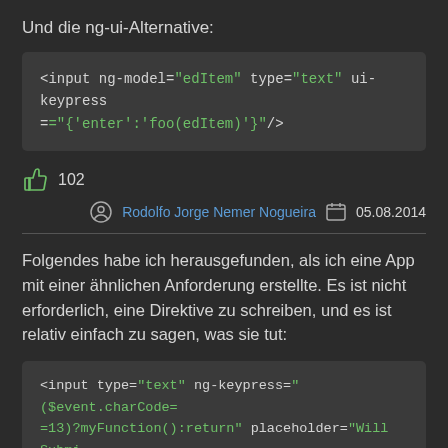Und die ng-ui-Alternative:
<input ng-model="edItem" type="text" ui-keypress ={"enter":"foo(edItem)"}/>
👍 102
Rodolfo Jorge Nemer Nogueira  05.08.2014
Folgendes habe ich herausgefunden, als ich eine App mit einer ähnlichen Anforderung erstellte. Es ist nicht erforderlich, eine Direktive zu schreiben, und es ist relativ einfach zu sagen, was sie tut:
<input type="text" ng-keypress="($event.charCode==13)?myFunction():return" placeholder="Will Submit on Enter">